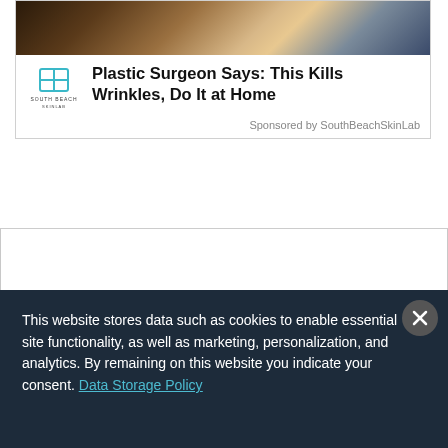[Figure (photo): Top portion of an advertisement showing a floral/decorative image (flowers, possibly a wedding or beauty context) with dark and light tones]
Plastic Surgeon Says: This Kills Wrinkles, Do It at Home
Sponsored by SouthBeachSkinLab
[Figure (other): White blank advertisement or content placeholder box]
This website stores data such as cookies to enable essential site functionality, as well as marketing, personalization, and analytics. By remaining on this website you indicate your consent. Data Storage Policy